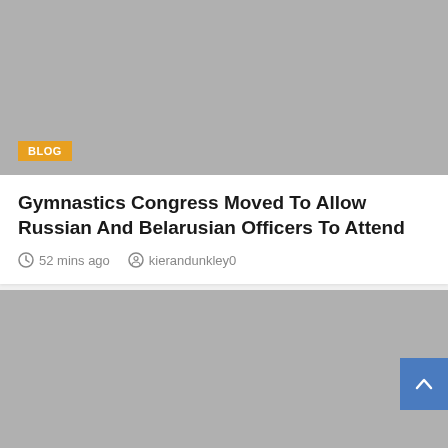[Figure (photo): Gray placeholder image for blog article thumbnail, top card]
Gymnastics Congress Moved To Allow Russian And Belarusian Officers To Attend
52 mins ago   kierandunkley0
[Figure (photo): Gray placeholder image for blog article thumbnail, bottom card]